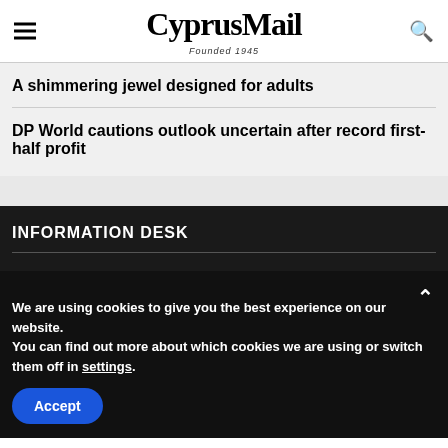CyprusMail Founded 1945
A shimmering jewel designed for adults
DP World cautions outlook uncertain after record first-half profit
INFORMATION DESK
We are using cookies to give you the best experience on our website.
You can find out more about which cookies we are using or switch them off in settings.